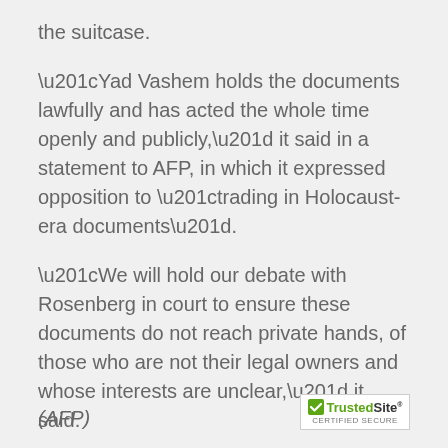the suitcase.
“Yad Vashem holds the documents lawfully and has acted the whole time openly and publicly,” it said in a statement to AFP, in which it expressed opposition to “trading in Holocaust-era documents”.
“We will hold our debate with Rosenberg in court to ensure these documents do not reach private hands, of those who are not their legal owners and whose interests are unclear,” it said.
The Jerusalem court will hold a preliminary hearing on the case on April 15, after mediation between the sides failed.
(AFP)
[Figure (logo): TrustedSite Certified Secure badge]